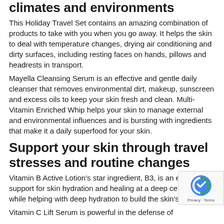climates and environments
This Holiday Travel Set contains an amazing combination of products to take with you when you go away. It helps the skin to deal with temperature changes, drying air conditioning and dirty surfaces, including resting faces on hands, pillows and headrests in transport.
Mayella Cleansing Serum is an effective and gentle daily cleanser that removes environmental dirt, makeup, sunscreen and excess oils to keep your skin fresh and clean. Multi-Vitamin Enriched Whip helps your skin to manage external and environmental influences and is bursting with ingredients that make it a daily superfood for your skin.
Support your skin through travel stresses and routine changes
Vitamin B Active Lotion's star ingredient, B3, is an excellent support for skin hydration and healing at a deep cellular level while helping with deep hydration to build the skin's integrity.
Vitamin C Lift Serum is powerful in the defense of